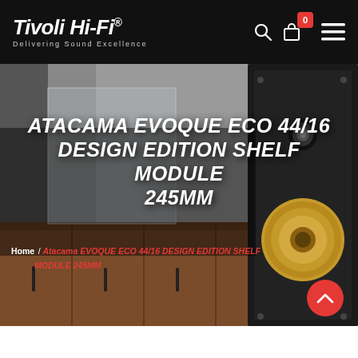Tivoli Hi-Fi® — Delivering Sound Excellence
[Figure (photo): Hero image showing a tall black loudspeaker (bookshelf/floor-standing) beside a wooden sideboard unit with dark handles, in a modern interior. The background is blurred grey. The speaker has a gold driver cone and black tweeter.]
ATACAMA EVOQUE ECO 44/16 DESIGN EDITION SHELF MODULE 245MM
Home / Atacama EVOQUE ECO 44/16 DESIGN EDITION SHELF MODULE 245MM